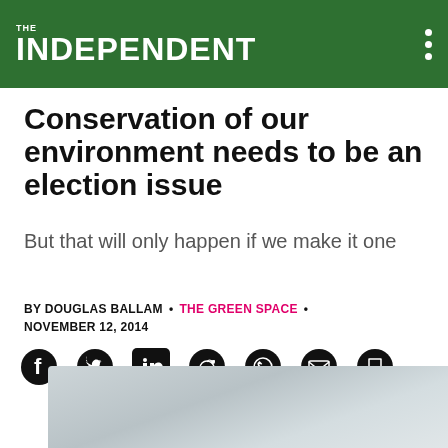THE INDEPENDENT
Conservation of our environment needs to be an election issue
But that will only happen if we make it one
BY DOUGLAS BALLAM • THE GREEN SPACE • NOVEMBER 12, 2014
[Figure (other): Share icons: Facebook, Twitter, LinkedIn, Reddit, WhatsApp, Email, Bookmark]
[Figure (photo): Partial photo of a grey sky/environment scene at the bottom of the page]